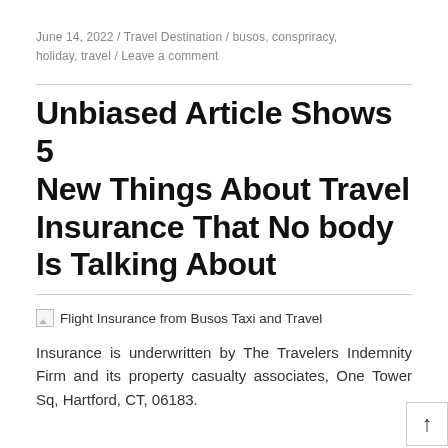June 14, 2022 / Travel Destination / busos, conspriracy, holiday, travel / Leave a comment
Unbiased Article Shows 5 New Things About Travel Insurance That No body Is Talking About
[Figure (photo): Broken image placeholder for Flight Insurance from Busos Taxi and Travel]
Insurance is underwritten by The Travelers Indemnity Firm and its property casualty associates, One Tower Sq, Hartford, CT, 06183.